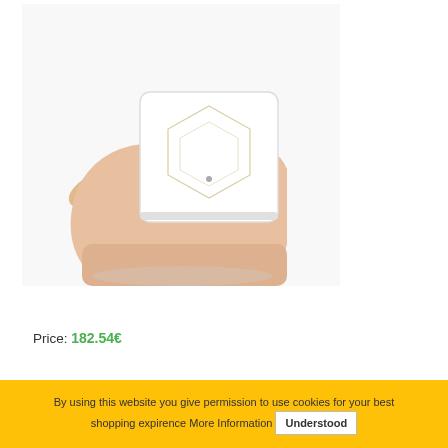[Figure (photo): A hand holding a small white square smart home device with a hexagonal pattern on its face, shown against a white background.]
Price: 182.54€
By using this website you give permission to use cookies for your best shopping expirence More Information Understood